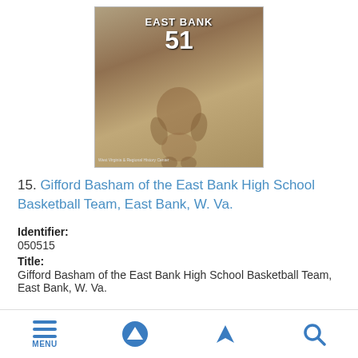[Figure (photo): Black and white photograph of Gifford Basham wearing East Bank jersey number 51, crouching in a basketball pose]
15. Gifford Basham of the East Bank High School Basketball Team, East Bank, W. Va.
Identifier:
050515
Title:
Gifford Basham of the East Bank High School Basketball Team, East Bank, W. Va.
MENU | up arrow | filter | search